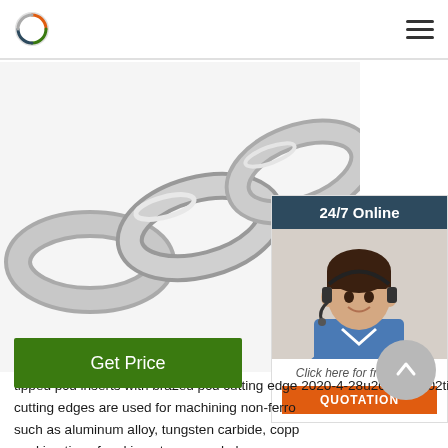[Figure (photo): Close-up photo of silver metallic chain links]
[Figure (infographic): 24/7 Online customer support widget with agent photo and QUOTATION button]
tipped pcd inserts with brazed pcd cutting edge 2020-4-28u2002·u2002tipped pcd inserts with brazed cutting edges are used for machining non-ferrous such as aluminum alloy, tungsten carbide, copper working tips of pcd inserts are made by pure pcd diamond, pcd tipped inserts are mainly for cnc turning and milling automobile engine block, cy transmission parts, ...
Get Price